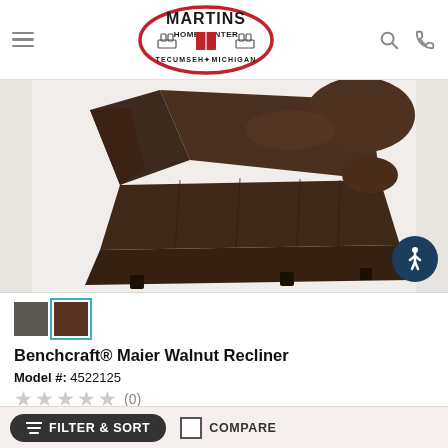Martins Home Center — Tecumseh, Michigan
[Figure (photo): Dark brown Benchcraft Maier Walnut Recliner chair, shown from a slightly elevated front-left angle, upholstered in dark brown/walnut fabric, with padded seat, back, and armrests. Accessibility icon badge visible in lower right.]
Benchcraft® Maier Walnut Recliner
Model #: 4522125
(0)
Request a Quote
FILTER & SORT
COMPARE